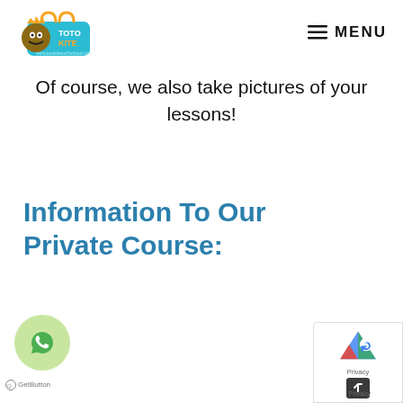[Figure (logo): Toto Kite school logo with tiki face and tote bag graphic]
≡ MENU
Of course, we also take pictures of your lessons!
Information To Our Private Course:
[Figure (other): WhatsApp chat bubble button (green circular icon)]
GetButton
[Figure (other): Google reCAPTCHA privacy badge with blue/red/green logo]
Privacy